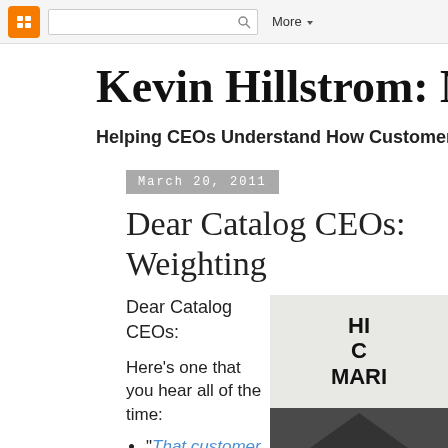Blogger navbar with logo, search box, and More dropdown
Kevin Hillstrom: MineTh...
Helping CEOs Understand How Customers Interac...
March 20, 2011
Dear Catalog CEOs: Weighting
Dear Catalog CEOs:
Here's one that you hear all of the time:
"That customer was acquired ..."
[Figure (photo): Book cover or author photo panel with text HI... C... MARI...]